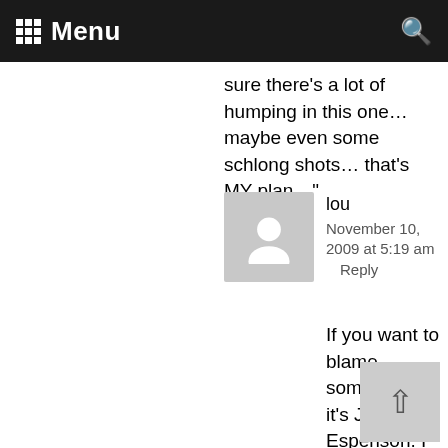Menu
sure there's a lot of humping in this one… maybe even some schlong shots… that's MY plan…"
lou
November 10, 2009 at 5:19 am
    Reply
If you want to blame somebody, it's Jane Espenson. I hear so many complaints when she gets in on a show, that it's quality takes a nosedive. Like she has the reverse-Midas Touch.